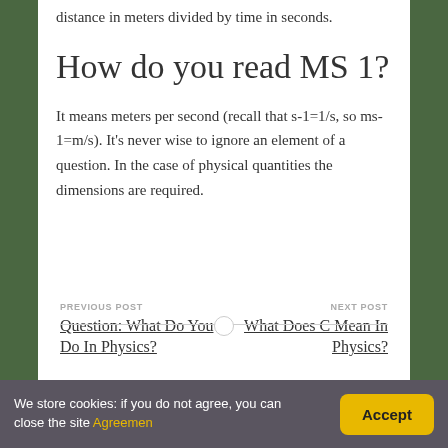distance in meters divided by time in seconds.
How do you read MS 1?
It means meters per second (recall that s-1=1/s, so ms-1=m/s). It's never wise to ignore an element of a question. In the case of physical quantities the dimensions are required.
PREVIOUS POST
Question: What Do You Do In Physics?
NEXT POST
What Does C Mean In Physics?
We store cookies: if you do not agree, you can close the site Agreemen
Accept